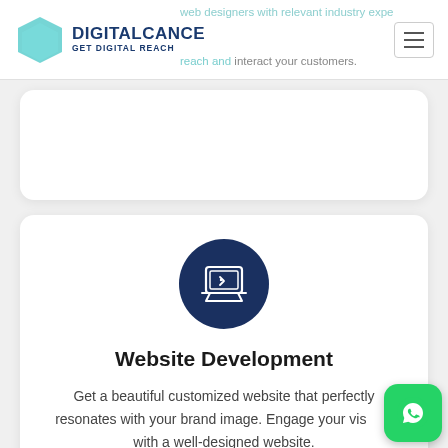web designers with relevant industry experience to reach and interact your customers.
[Figure (logo): Digitalcance logo with hexagon icon and tagline GET DIGITAL REACH]
[Figure (illustration): Laptop icon in dark navy circle representing Website Development service]
Website Development
Get a beautiful customized website that perfectly resonates with your brand image. Engage your visitors with a well-designed website.
[Figure (illustration): WhatsApp floating action button (green rounded square with WhatsApp phone icon)]